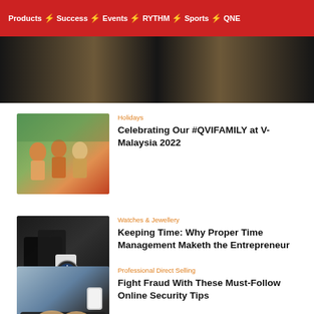Products ⚡ Success ⚡ Events ⚡ RYTHM ⚡ Sports ⚡ QNE
[Figure (photo): Dark background header image with gold/bronze diagonal lighting]
[Figure (photo): Group of people outdoors in colorful traditional clothing]
Holidays
Celebrating Our #QVIFAMILY at V-Malaysia 2022
[Figure (photo): Man in black suit checking luxury watch on wrist]
Watches & Jewellery
Keeping Time: Why Proper Time Management Maketh the Entrepreneur
[Figure (photo): Person typing on laptop keyboard with coffee cup nearby]
Professional Direct Selling
Fight Fraud With These Must-Follow Online Security Tips